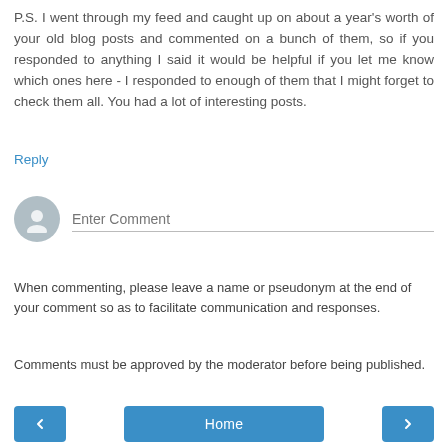P.S. I went through my feed and caught up on about a year's worth of your old blog posts and commented on a bunch of them, so if you responded to anything I said it would be helpful if you let me know which ones here - I responded to enough of them that I might forget to check them all. You had a lot of interesting posts.
Reply
[Figure (other): User avatar icon (grey circle with silhouette) and 'Enter Comment' input field with bottom border]
When commenting, please leave a name or pseudonym at the end of your comment so as to facilitate communication and responses.
Comments must be approved by the moderator before being published.
< Home >